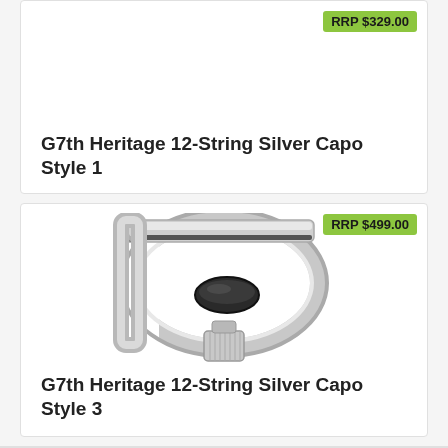[Figure (photo): G7th Heritage 12-String Silver Capo Style 1 product card (top portion visible) with price badge RRP $329.00]
RRP $329.00
G7th Heritage 12-String Silver Capo Style 1
[Figure (photo): G7th Heritage 12-String Silver Capo Style 3 - silver capo with D-shaped frame, black rubber saddle, and knurled thumb screw]
RRP $499.00
G7th Heritage 12-String Silver Capo Style 3